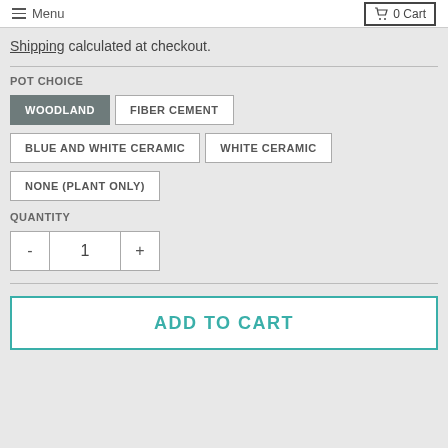Menu | 0 Cart
Shipping calculated at checkout.
POT CHOICE
WOODLAND (selected)
FIBER CEMENT
BLUE AND WHITE CERAMIC
WHITE CERAMIC
NONE (PLANT ONLY)
QUANTITY
- 1 +
ADD TO CART